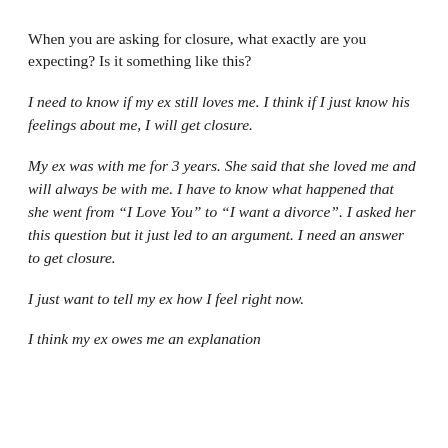When you are asking for closure, what exactly are you expecting? Is it something like this?
I need to know if my ex still loves me. I think if I just know his feelings about me, I will get closure.
My ex was with me for 3 years. She said that she loved me and will always be with me. I have to know what happened that she went from “I Love You” to “I want a divorce”. I asked her this question but it just led to an argument. I need an answer to get closure.
I just want to tell my ex how I feel right now.
I think my ex owes me an explanation